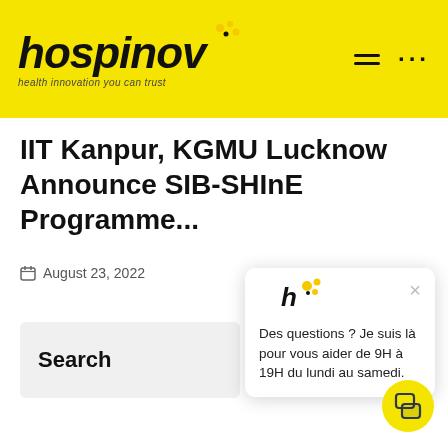[Figure (logo): Hospinov logo with bee icon and tagline 'health innovation you can trust' on yellow background with hamburger menu and dots icons]
IIT Kanpur, KGMU Lucknow Announce SIB-SHInE Programme...
August 23, 2022
[Figure (screenshot): Chat popup widget with Hospinov logo and text: Des questions ? Je suis là pour vous aider de 9H à 19H du lundi au samedi.]
Search